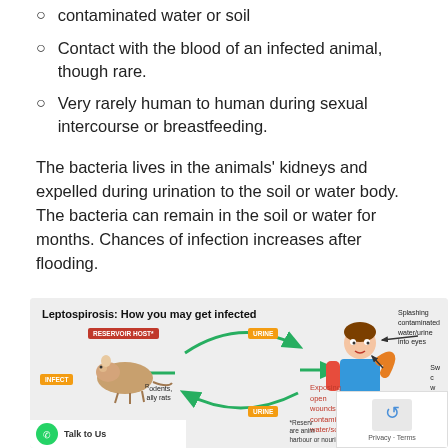contaminated water or soil
Contact with the blood of an infected animal, though rare.
Very rarely human to human during sexual intercourse or breastfeeding.
The bacteria lives in the animals' kidneys and expelled during urination to the soil or water body. The bacteria can remain in the soil or water for months. Chances of infection increases after flooding.
[Figure (infographic): Infographic titled 'Leptospirosis: How you may get infected' showing a cycle from reservoir host (rodents, rats) excreting urine containing Leptospira sp. into the environment, and how humans get infected through splashing contaminated water/urine into eyes, swallowing contaminated water, and exposing open wounds to contaminated water/soil.]